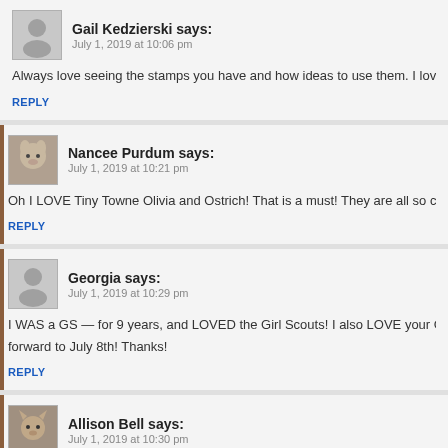Gail Kedzierski says:
July 1, 2019 at 10:06 pm
Always love seeing the stamps you have and how ideas to use them. I love the
REPLY
Nancee Purdum says:
July 1, 2019 at 10:21 pm
Oh I LOVE Tiny Towne Olivia and Ostrich! That is a must! They are all so cute!
REPLY
Georgia says:
July 1, 2019 at 10:29 pm
I WAS a GS — for 9 years, and LOVED the Girl Scouts! I also LOVE your GS, and forward to July 8th! Thanks!
REPLY
Allison Bell says:
July 1, 2019 at 10:30 pm
LOVE LOVE LOVE the Tiny Townie with the elephant!!! And those scouts are av
REPLY